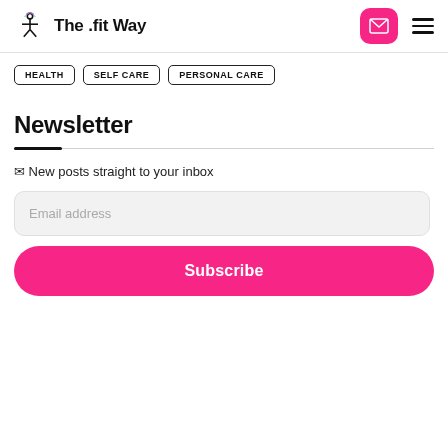The .fit Way
HEALTH
SELF CARE
PERSONAL CARE
Newsletter
✉ New posts straight to your inbox
Email address
Subscribe